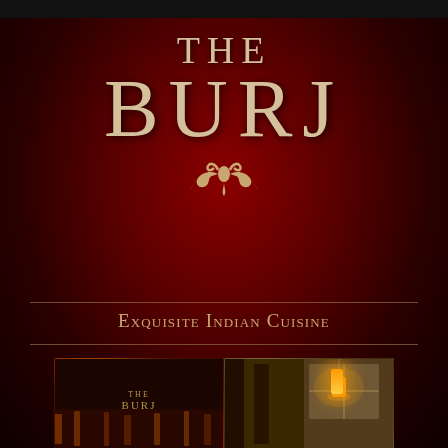THE BURJ
Exquisite Indian Cuisine
Home | About The Burj | Menus | Contact & Find Us
[Figure (photo): Two side-by-side restaurant photos: left shows exterior/signage with warm amber reflections, right shows interior corridor with pendant lamp lighting]